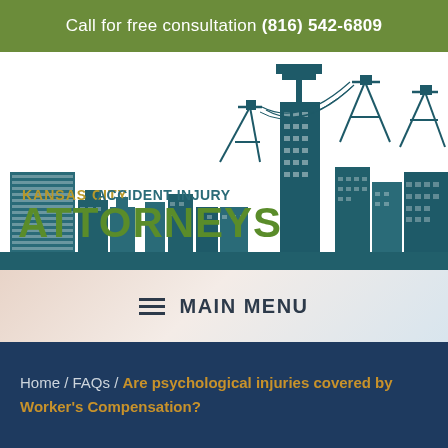Call for free consultation (816) 542-6809
[Figure (logo): Kansas City Accident Injury Attorneys logo with teal city skyline silhouette and power line towers on white background]
MAIN MENU
Home / FAQs / Are psychological injuries covered by Worker's Compensation?
LIVE CHAT
TEXT US